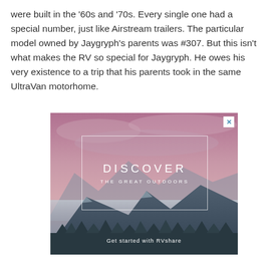were built in the '60s and '70s. Every single one had a special number, just like Airstream trailers. The particular model owned by Jaygryph's parents was #307. But this isn't what makes the RV so special for Jaygryph. He owes his very existence to a trip that his parents took in the same UltraVan motorhome.
[Figure (photo): Advertisement banner showing a mountain landscape at dusk with pink/purple sky. A white rectangle border overlays the center containing the text 'DISCOVER' in large spaced letters and 'THE GREAT OUTDOORS' below it. At the bottom: 'Get started with RVshare'. An X close button is in the top right corner.]